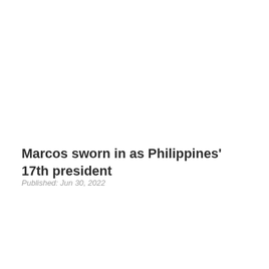Marcos sworn in as Philippines’ 17th president
Published: Jun 30, 2022